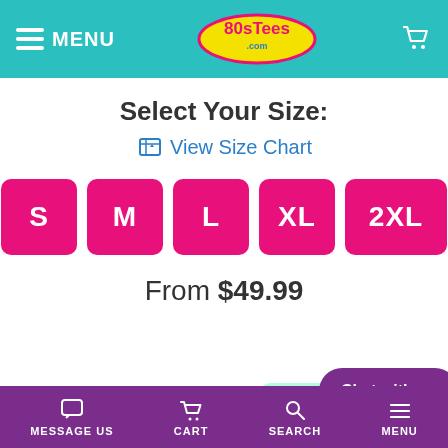80sTees.com - MENU header with cart
Select Your Size:
View Size Chart
S  M  L  XL  2XL
From $49.99
Pay in 4 interest free payments of just $1
afterpay  More info  Chat with us
MESSAGE US  CART  SEARCH  MENU